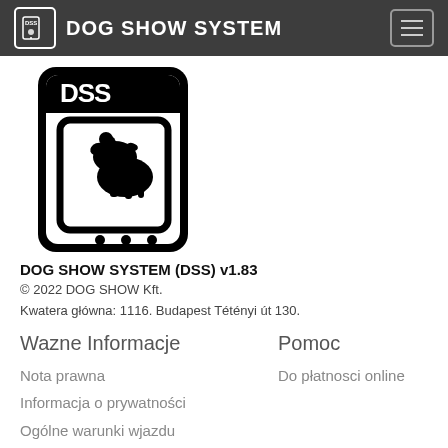DOG SHOW SYSTEM
[Figure (logo): Dog Show System app logo — stylized smartphone with dog silhouette and hand/cursor icon, DSS text at top, black and white illustration]
DOG SHOW SYSTEM (DSS) v1.83
© 2022 DOG SHOW Kft.
Kwatera główna: 1116. Budapest Tétényi út 130.
Wazne Informacje
Pomoc
Nota prawna
Do płatnosci online
Informacja o prywatności
Ogólne warunki wjazdu
Komunikacja
Dostepnosc